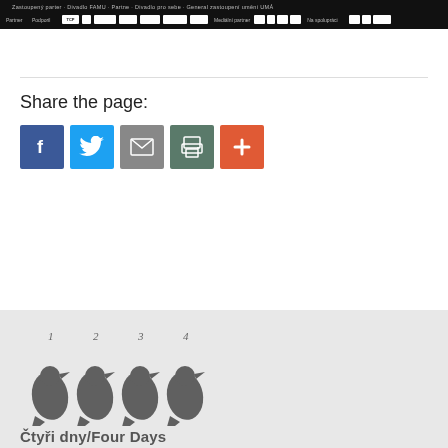[Figure (other): Dark banner with sponsor logos: TCP, and multiple organization/sponsor logos on black background with small label text for Partner, Podporili, Mediální partner, Na spolupráci]
Share the page:
[Figure (infographic): Social share buttons: Facebook (blue), Twitter (light blue), Email (gray), Print (teal/gray), More/Plus (orange-red)]
[Figure (logo): Čtyři dny/Four Days festival logo with four stylized crow/raven birds numbered 1 2 3 4 above them, in dark gray on light gray background]